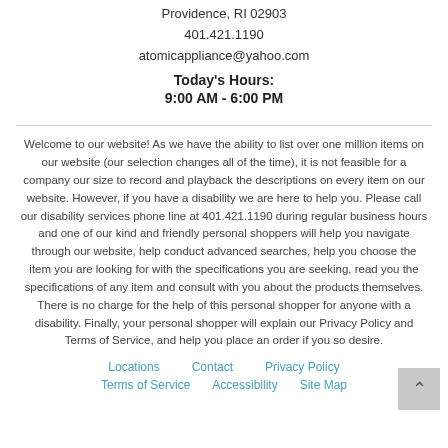Providence, RI 02903
401.421.1190
atomicappliance@yahoo.com
Today's Hours:
9:00 AM - 6:00 PM
Welcome to our website! As we have the ability to list over one million items on our website (our selection changes all of the time), it is not feasible for a company our size to record and playback the descriptions on every item on our website. However, if you have a disability we are here to help you. Please call our disability services phone line at 401.421.1190 during regular business hours and one of our kind and friendly personal shoppers will help you navigate through our website, help conduct advanced searches, help you choose the item you are looking for with the specifications you are seeking, read you the specifications of any item and consult with you about the products themselves. There is no charge for the help of this personal shopper for anyone with a disability. Finally, your personal shopper will explain our Privacy Policy and Terms of Service, and help you place an order if you so desire.
Locations   Contact   Privacy Policy   Terms of Service   Accessibility   Site Map